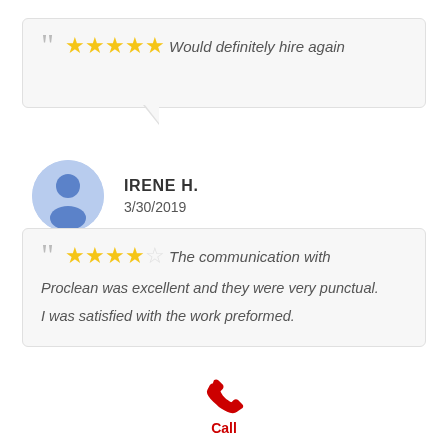[Figure (other): Review card with 5 stars and text: Would definitely hire again]
[Figure (other): User avatar circle with profile icon for Irene H.]
IRENE H.
3/30/2019
[Figure (other): Review card with 4 stars and text: The communication with Proclean was excellent and they were very punctual. I was satisfied with the work preformed.]
[Figure (other): Red phone icon with Call label below]